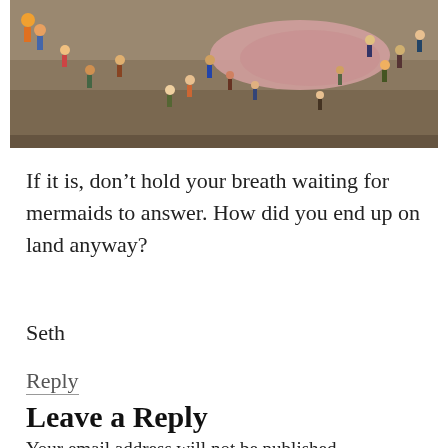[Figure (photo): Aerial view of people gathered on a sandy beach around what appears to be a large object on the shore]
If it is, don’t hold your breath waiting for mermaids to answer. How did you end up on land anyway?
Seth
Reply
Leave a Reply
Your email address will not be published.